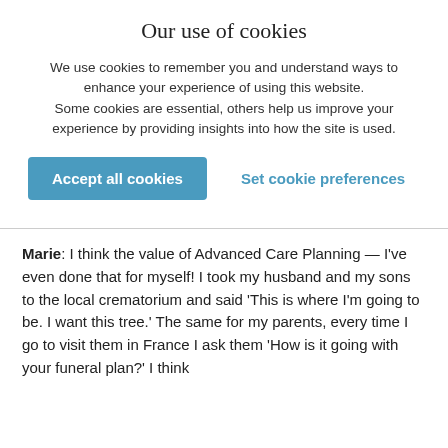Our use of cookies
We use cookies to remember you and understand ways to enhance your experience of using this website. Some cookies are essential, others help us improve your experience by providing insights into how the site is used.
Accept all cookies | Set cookie preferences
Marie: I think the value of Advanced Care Planning — I've even done that for myself! I took my husband and my sons to the local crematorium and said 'This is where I'm going to be. I want this tree.' The same for my parents, every time I go to visit them in France I ask them 'How is it going with your funeral plan?' I think